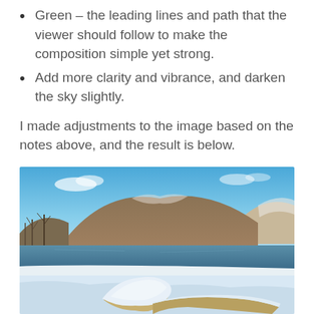Green – the leading lines and path that the viewer should follow to make the composition simple yet strong.
Add more clarity and vibrance, and darken the sky slightly.
I made adjustments to the image based on the notes above, and the result is below.
[Figure (photo): Winter landscape photograph showing snow-covered driftwood or anchor in foreground, a calm lake or river in the middle ground, and brown hills/mountains under a clear blue sky with sparse clouds. Bare trees visible on the left side.]